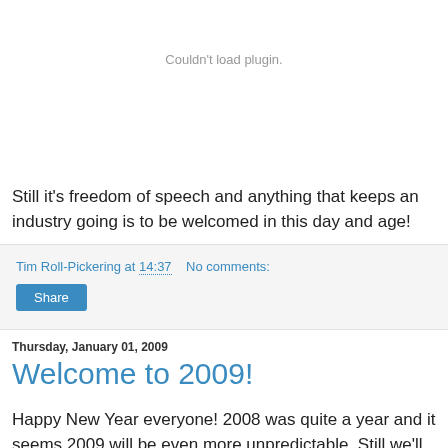Couldn't load plugin.
Still it's freedom of speech and anything that keeps an industry going is to be welcomed in this day and age!
Tim Roll-Pickering at 14:37   No comments:
Share
Thursday, January 01, 2009
Welcome to 2009!
Happy New Year everyone! 2008 was quite a year and it seems 2009 will be even more unpredictable. Still we'll see what it brings.